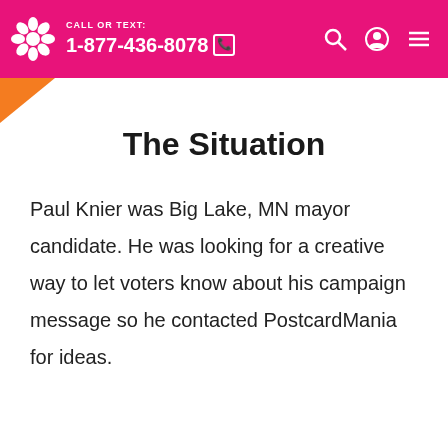CALL OR TEXT: 1-877-436-8078
The Situation
Paul Knier was Big Lake, MN mayor candidate. He was looking for a creative way to let voters know about his campaign message so he contacted PostcardMania for ideas.